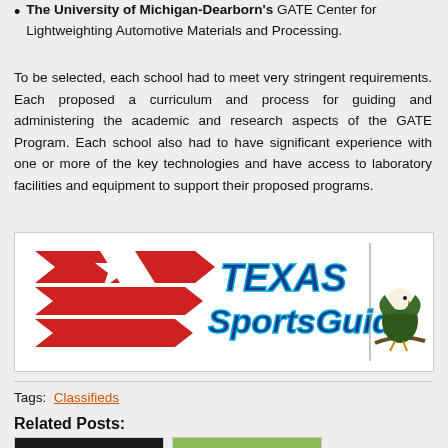The University of Michigan-Dearborn's GATE Center for Lightweighting Automotive Materials and Processing.
To be selected, each school had to meet very stringent requirements. Each proposed a curriculum and process for guiding and administering the academic and research aspects of the GATE Program. Each school also had to have significant experience with one or more of the key technologies and have access to laboratory facilities and equipment to support their proposed programs.
[Figure (logo): Texas Sports Guide logo with red wing/arrow graphic on left and eagle on perch on right]
Tags:  Classifieds
Related Posts:
[Figure (photo): Hello Tags Classifieds thumbnail - computer on fire graphic]
[Figure (photo): Propane Price thumbnail - propane tank photo with PROPANE text]